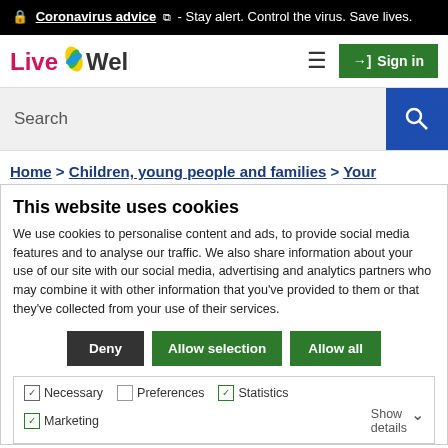🔒 Coronavirus advice [external link] - Stay alert. Control the virus. Save lives.
[Figure (logo): LiveWell logo with colorful leaf icon]
≡  →] Sign in
Search [search button]
Home > Children, young people and families > Your
This website uses cookies
We use cookies to personalise content and ads, to provide social media features and to analyse our traffic. We also share information about your use of our site with our social media, advertising and analytics partners who may combine it with other information that you've provided to them or that they've collected from your use of their services.
Deny  Allow selection  Allow all
✓ Necessary  □ Preferences  ✓ Statistics  ✓ Marketing  Show details ∨